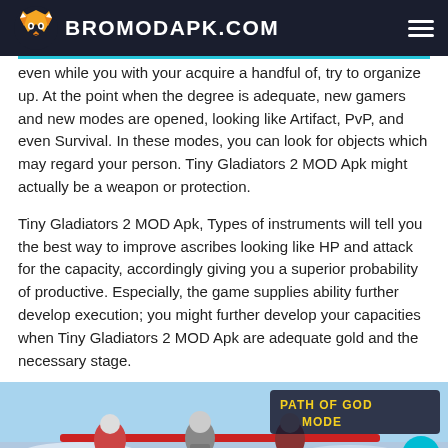BROMODAPK.COM
...even while you with your acquire a handful of, try to organize up. At the point when the degree is adequate, new gamers and new modes are opened, looking like Artifact, PvP, and even Survival. In these modes, you can look for objects which may regard your person. Tiny Gladiators 2 MOD Apk might actually be a weapon or protection.
Tiny Gladiators 2 MOD Apk, Types of instruments will tell you the best way to improve ascribes looking like HP and attack for the capacity, accordingly giving you a superior probability of productive. Especially, the game supplies ability further develop execution; you might further develop your capacities when Tiny Gladiators 2 MOD Apk are adequate gold and the necessary stage.
[Figure (screenshot): Screenshot of Tiny Gladiators 2 game showing PATH OF GOD MODE screen with characters]